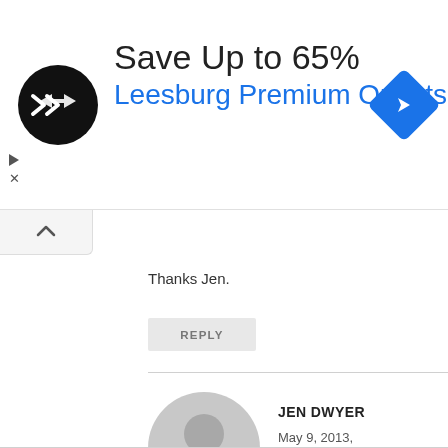[Figure (screenshot): Ad banner for Leesburg Premium Outlets showing black circular logo with arrow symbol, text 'Save Up to 65%' and 'Leesburg Premium Outlets' in blue, with a blue diamond navigation icon on the right]
[Figure (screenshot): Collapse/accordion tab button with upward caret arrow]
Thanks Jen.
REPLY
[Figure (illustration): Generic grey user avatar silhouette in circle]
JEN DWYER
May 9, 2013, 1:09 pm
No worries ((*_*))